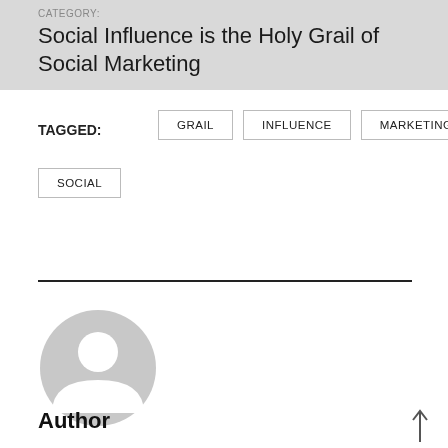CATEGORY:
Social Influence is the Holy Grail of Social Marketing
TAGGED:
GRAIL
INFLUENCE
MARKETING
SOCIAL
[Figure (illustration): Generic user avatar placeholder — grey circle with white silhouette of a person head and shoulders]
Author